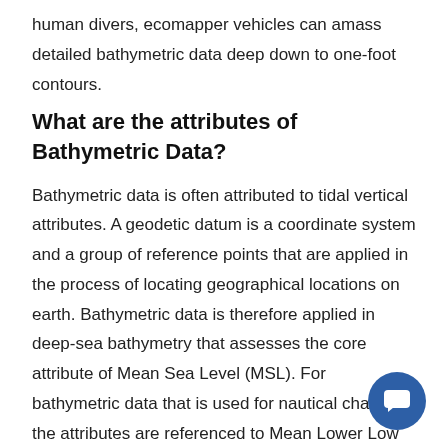human divers, ecomapper vehicles can amass detailed bathymetric data deep down to one-foot contours.
What are the attributes of Bathymetric Data?
Bathymetric data is often attributed to tidal vertical attributes. A geodetic datum is a coordinate system and a group of reference points that are applied in the process of locating geographical locations on earth. Bathymetric data is therefore applied in deep-sea bathymetry that assesses the core attribute of Mean Sea Level (MSL). For bathymetric data that is used for nautical charting, the attributes are referenced to Mean Lower Low Water